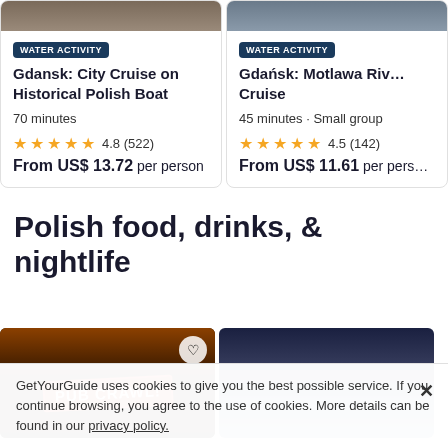[Figure (screenshot): Card with WATER ACTIVITY badge and image top, title: Gdansk: City Cruise on Historical Polish Boat, duration 70 minutes, rating 4.8 (522) stars, price From US$ 13.72 per person]
[Figure (screenshot): Card with WATER ACTIVITY badge and image top, title: Gdańsk: Motlawa River Cruise, duration 45 minutes Small group, rating 4.5 (142), price From US$ 11.61 per person]
Polish food, drinks, & nightlife
Explore all →
[Figure (photo): Photo of a person holding a PUB CRAWL sign in a dark bar setting, with a heart bookmark icon]
[Figure (photo): Photo of a city skyline at dusk or night with buildings and sky]
GetYourGuide uses cookies to give you the best possible service. If you continue browsing, you agree to the use of cookies. More details can be found in our privacy policy.